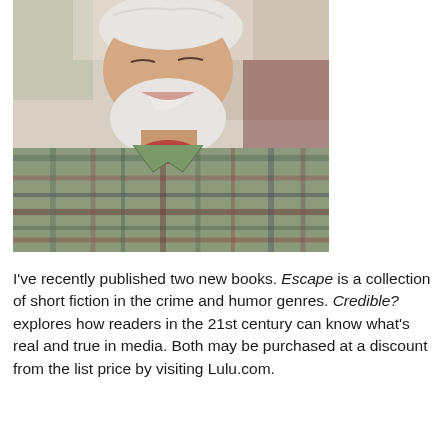[Figure (photo): A smiling elderly man with white hair and beard, wearing glasses and a plaid flannel shirt in a multicolored checkered pattern with a red shirt underneath. The photo is cropped from the shoulders upward.]
I've recently published two new books. Escape is a collection of short fiction in the crime and humor genres. Credible? explores how readers in the 21st century can know what's real and true in media. Both may be purchased at a discount from the list price by visiting Lulu.com.